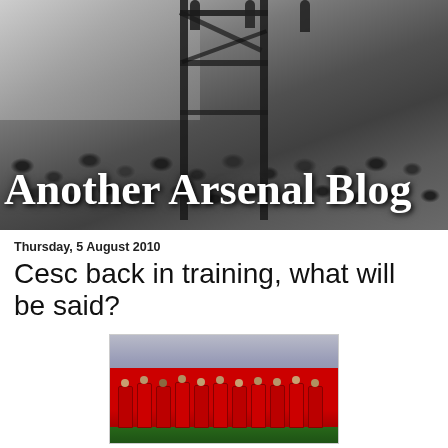[Figure (photo): Black and white header photo of Arsenal football fans/crowd in stands with scaffold structure, with blog title 'Another Arsenal Blog' overlaid in white serif text]
Thursday, 5 August 2010
Cesc back in training, what will be said?
[Figure (photo): Color photo of Arsenal football players in red training kits standing in a row on a pitch with stadium crowd in background]